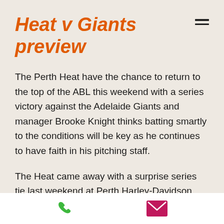Heat v Giants preview
The Perth Heat have the chance to return to the top of the ABL this weekend with a series victory against the Adelaide Giants and manager Brooke Knight thinks batting smartly to the conditions will be key as he continues to have faith in his pitching staff.
The Heat came away with a surprise series tie last weekend at Perth Harley-Davidson Ballpark after setting the venue alight in the opening 10